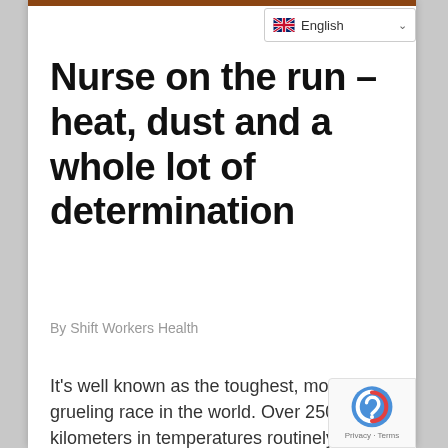[Figure (screenshot): Language selector dropdown showing UK flag and 'English' label with chevron]
Nurse on the run – heat, dust and a whole lot of determination
By Shift Workers Health
It's well known as the toughest, most grueling race in the world. Over 250 kilometers in temperatures routinely over 50 degrees, sandstorms, crippling blisters and, would you believe it, rationed water. No wonder runners